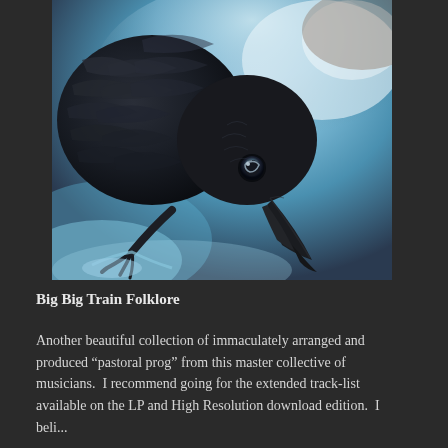[Figure (illustration): A detailed digital painting of a black crow or raven viewed from above and side, beak pointing downward, with intricate dark feather detail against a misty blue and white atmospheric background with swirling icy textures]
Big Big Train Folklore
Another beautiful collection of immaculately arranged and produced “pastoral prog” from this master collective of musicians.  I recommend going for the extended track-list available on the LP and High Resolution download edition.  I believe...